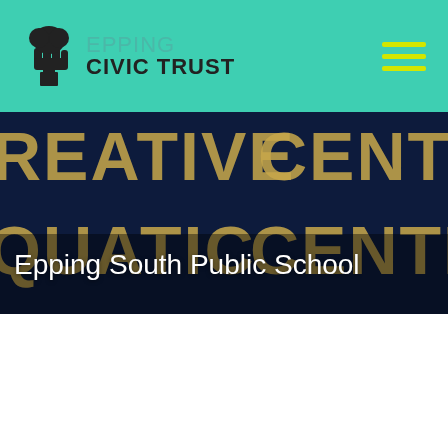Epping Civic Trust
[Figure (photo): Dark blue sign with gold/tan letters showing partial text: REATIVE CENTRE, QUATIC CENTRE, with white title overlay 'Epping South Public School']
Epping South Public School
Published by Epping Civic Trust · June 1, 2021
The State Government plans to build a completely new primary school, to be called Epping South PS on Chelmsford Ave in Epping. Construction is due to start in October 2021, with Stage one (the